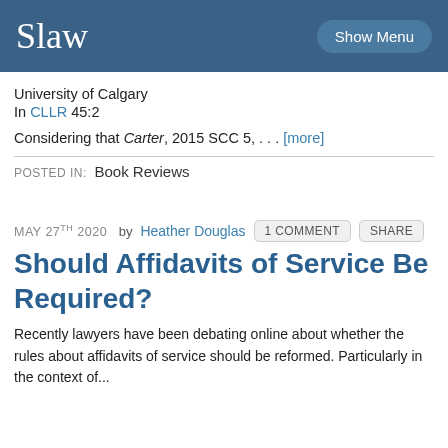Slaw | Show Menu
University of Calgary
In CLLR 45:2
Considering that Carter, 2015 SCC 5, . . . [more]
POSTED IN: Book Reviews
MAY 27th 2020  by Heather Douglas  1 Comment  Share
Should Affidavits of Service Be Required?
Recently lawyers have been debating online about whether the rules about affidavits of service should be reformed. Particularly in the context of...